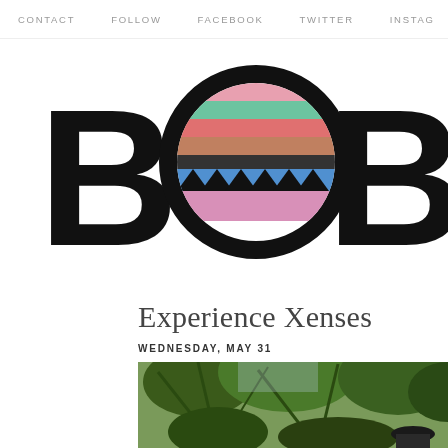CONTACT   FOLLOW   FACEBOOK   TWITTER   INSTAG
[Figure (logo): BOBB logo with colorful striped circle replacing the O, bold black rounded letters partially cropped at right edge]
Experience Xenses
WEDNESDAY, MAY 31
[Figure (photo): Outdoor photo with tropical palm trees and foliage, person partially visible at bottom right wearing a hat]